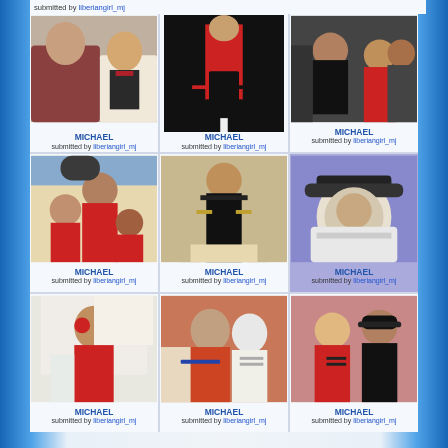submitted by liberiangirl_mj
[Figure (photo): Michael Jackson with a young man, both smiling, photo in red tones]
MICHAEL
submitted by liberiangirl_mj
[Figure (photo): Michael Jackson performing on stage in red jacket and black pants]
MICHAEL
submitted by liberiangirl_mj
[Figure (photo): Michael Jackson among crowd of fans, black and red outfit]
MICHAEL
submitted by liberiangirl_mj
[Figure (photo): Michael Jackson waving in a crowd at a sporting event]
MICHAEL
submitted by liberiangirl_mj
[Figure (photo): Michael Jackson in military-style black outfit at event]
MICHAEL
submitted by liberiangirl_mj
[Figure (illustration): Illustrated portrait of Michael Jackson with black hat on blue background]
MICHAEL
submitted by liberiangirl_mj
[Figure (photo): Michael Jackson raising hand at a monument or building]
MICHAEL
submitted by liberiangirl_mj
[Figure (photo): Michael Jackson with an older white-haired man, both smiling]
MICHAEL
submitted by liberiangirl_mj
[Figure (photo): Michael Jackson with an Asian woman, wearing red outfit and black hat]
MICHAEL
submitted by liberiangirl_mj